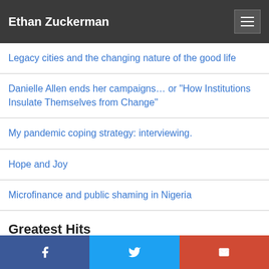Ethan Zuckerman
Legacy cities and the changing nature of the good life
Danielle Allen ends her campaigns… or "How Institutions Insulate Themselves from Change"
My pandemic coping strategy: interviewing.
Hope and Joy
Microfinance and public shaming in Nigeria
Greatest Hits
Can a State be the Proxy? Participation, Media and Political…